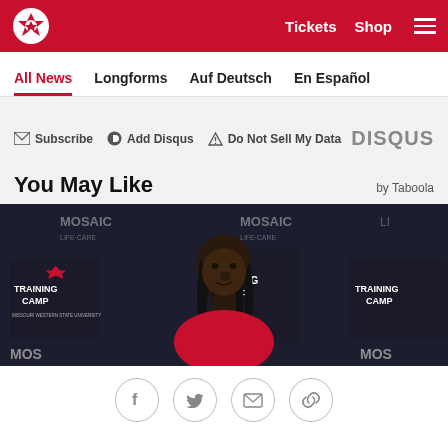Kansas City Chiefs — Tickets  Shop  [menu]
All News  Longforms  Auf Deutsch  En Español
Subscribe  Add Disqus  Do Not Sell My Data  DISQUS
You May Like
by Taboola
[Figure (photo): Kansas City Chiefs player at a Training Camp press conference in front of Mosaic Life Care branded backdrop.]
Social share icons: Facebook, Twitter, Email, Link